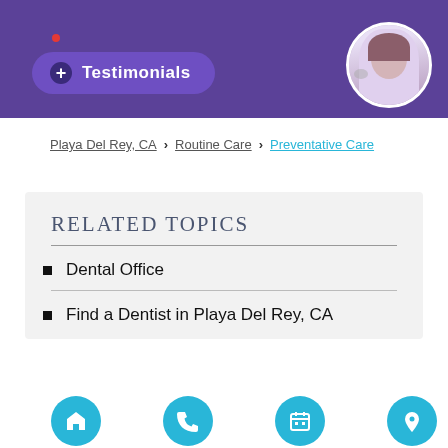Testimonials
Playa Del Rey, CA > Routine Care > Preventative Care
Related Topics
Dental Office
Find a Dentist in Playa Del Rey, CA
Search